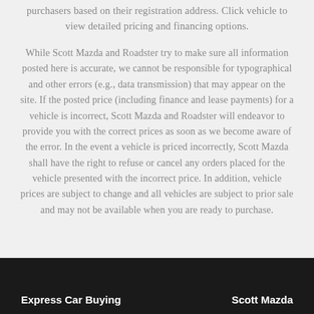purchasers based on their registration address. Click vehicle to view detailed pricing and financing options.
While Scott Mazda and Roadster try to make sure all information posted here is accurate, we cannot be responsible for typographical and other errors (e.g., data transmission) that may appear on the site. If the posted price (including finance and lease payments) for a vehicle is incorrect, Scott Mazda and Roadster will endeavor to provide you with the correct prices as soon as we become aware of the error. In the event a vehicle is priced incorrectly, Scott Mazda shall have the right to refuse or cancel any orders placed for the vehicle presented with the incorrect price. In addition, vehicle prices are subject to change and all vehicles are subject to prior sale and may not be available when you are ready to purchase.
Express Car Buying    Scott Mazda